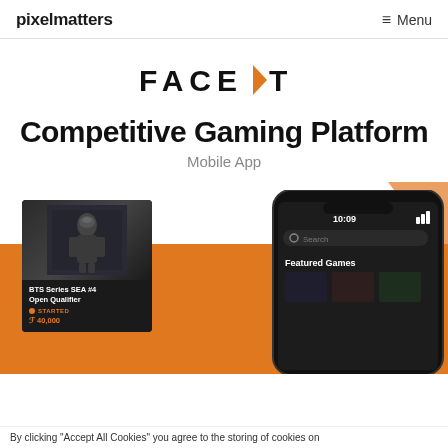pixelmatters   Menu
[Figure (logo): FACEIT logo with orange arrow/lightning bolt accent]
Competitive Gaming Platform
Mobile App
[Figure (screenshot): Mobile app screenshot showing FACEIT competitive gaming platform. An orange background with a game card showing 'BTS Series SEA #4 Open Qualifier', STARTED status, and prize F 40,000. A phone mockup showing the app with search bar and Featured Games section.]
By clicking "Accept All Cookies" you agree to the storing of cookies on